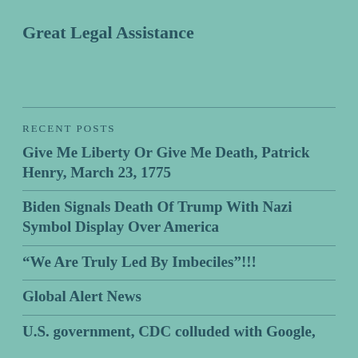Great Legal Assistance
RECENT POSTS
Give Me Liberty Or Give Me Death, Patrick Henry, March 23, 1775
Biden Signals Death Of Trump With Nazi Symbol Display Over America
“We Are Truly Led By Imbeciles”!!!
Global Alert News
U.S. government, CDC colluded with Google,